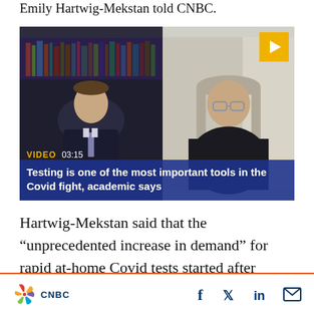Emily Hartwig-Mekstan told CNBC.
[Figure (screenshot): CNBC video thumbnail showing split screen: left side shows male news anchor in dark suit against bookshelf background, right side shows female academic with grey hair on video call. Yellow play button in top right corner. Video label shows 'VIDEO 03:15'. Blue overlay bar at bottom reads: 'Testing is one of the most important tools in the Covid fight, academic says']
Hartwig-Mekstan said that the “unprecedented increase in demand” for rapid at-home Covid tests started after Thanksgiving and has
CNBC  [social icons: Facebook, Twitter, LinkedIn, Email]